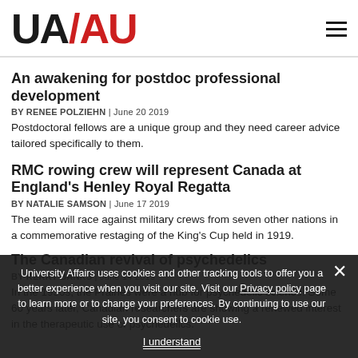UA/AU logo and navigation
An awakening for postdoc professional development
BY RENEE POLZIEHN | June 20 2019
Postdoctoral fellows are a unique group and they need career advice tailored specifically to them.
RMC rowing crew will represent Canada at England's Henley Royal Regatta
BY NATALIE SAMSON | June 17 2019
The team will race against military crews from seven other nations in a commemorative restaging of the King's Cup held in 1919.
The Canadian revival of psychedelics
BY KERRY BANKS | June 14 2019
In the 1950s, the Prairies were a hub for psychedelic science. Some 60 years later, Canadian researchers are showing a renewed interest in the therapeutic use of psychedelics.
University Affairs uses cookies and other tracking tools to offer you a better experience when you visit our site. Visit our Privacy policy page to learn more or to change your preferences. By continuing to use our site, you consent to cookie use. I understand